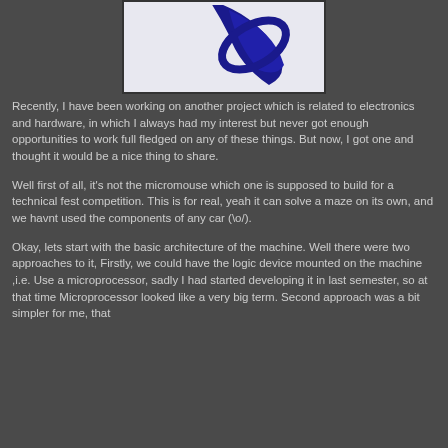[Figure (illustration): Partial logo or illustration showing a blue curved shape against a light background, appears to be a mouse logo]
Recently, I have been working on another project which is related to electronics and hardware, in which I always had my interest but never got enough opportunities to work full fledged on any of these things. But now, I got one and thought it would be a nice thing to share.
Well first of all, it's not the micromouse which one is supposed to build for a technical fest competition. This is for real, yeah it can solve a maze on its own, and we havnt used the components of any car (\o/).
Okay, lets start with the basic architecture of the machine. Well there were two approaches to it, Firstly, we could have the logic device mounted on the machine ,i.e. Use a microprocessor, sadly I had started developing it in last semester, so at that time Microprocessor looked like a very big term. Second approach was a bit simpler for me, that